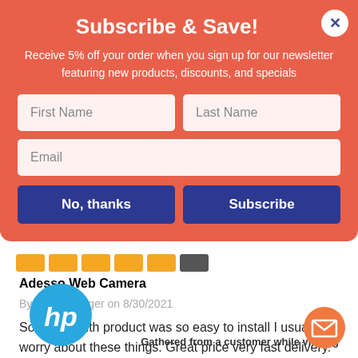Subscribe & Save!
Receive 5% off your order when you sign up for our newsletter featuring new products, discounts, and specials
First Name
Last Name
Email
No, thanks
Subscribe
Adesso Web Camera
By Home Pringer on 8/30/2021
So happy with product was so easy to install I usually worry about these things. Great price very fast delivery.
Gathered from a customer while visiting
[Figure (logo): HP logo in blue and white circle]
[Figure (other): Orange circular email/envelope button]